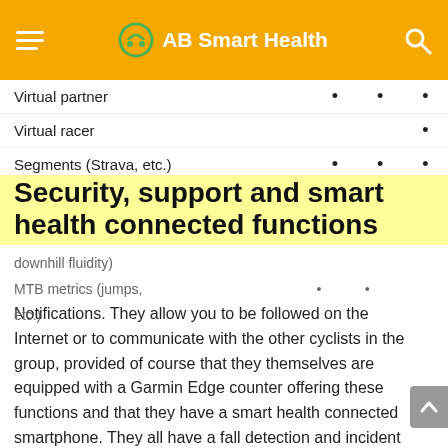AB Smart Health
| Feature | col1 | col2 | col3 |
| --- | --- | --- | --- |
| Virtual partner | • | • | • |
| Virtual racer |  |  | • |
| Segments (Strava, etc.) | • | • | • |
Security, support and smart health connected functions
Notifications. They allow you to be followed on the Internet or to communicate with the other cyclists in the group, provided of course that they themselves are equipped with a Garmin Edge counter offering these functions and that they have a smart health connected smartphone. They all have a fall detection and incident assistance function (call an emergency number).